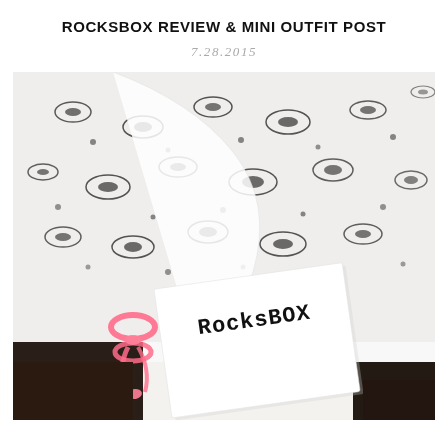ROCKSBOX REVIEW & MINI OUTFIT POST
7.28.2015
[Figure (photo): A close-up photo of a white Rocksbox package/card with black handwritten-style 'ROCKSBOX' lettering, placed on a white lace fabric with black floral pattern. A pink ribbon or hair tie is visible near the bottom-left of the card. The background shows dark wood surface at the bottom edges.]